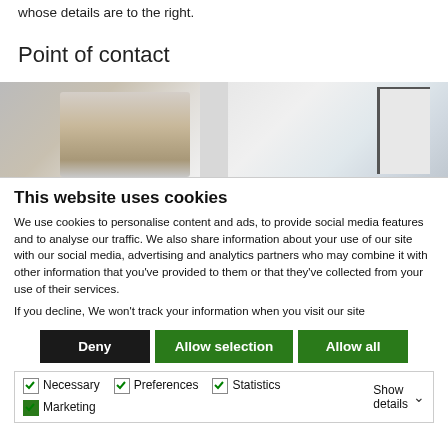whose details are to the right.
Point of contact
[Figure (photo): Partial photograph showing a person and interior background, used as decorative header image on a contact page]
This website uses cookies
We use cookies to personalise content and ads, to provide social media features and to analyse our traffic. We also share information about your use of our site with our social media, advertising and analytics partners who may combine it with other information that you've provided to them or that they've collected from your use of their services.
If you decline, We won't track your information when you visit our site
Deny | Allow selection | Allow all
Necessary  Preferences  Statistics  Marketing  Show details